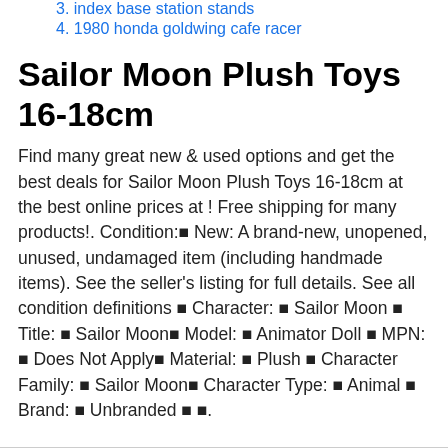3. index base station stands
4. 1980 honda goldwing cafe racer
Sailor Moon Plush Toys 16-18cm
Find many great new & used options and get the best deals for Sailor Moon Plush Toys 16-18cm at the best online prices at ! Free shipping for many products!. Condition:■ New: A brand-new, unopened, unused, undamaged item (including handmade items). See the seller's listing for full details. See all condition definitions ■ Character: ■ Sailor Moon ■ Title: ■ Sailor Moon■ Model: ■ Animator Doll ■ MPN: ■ Does Not Apply■ Material: ■ Plush ■ Character Family: ■ Sailor Moon■ Character Type: ■ Animal ■ Brand: ■ Unbranded ■ ■.